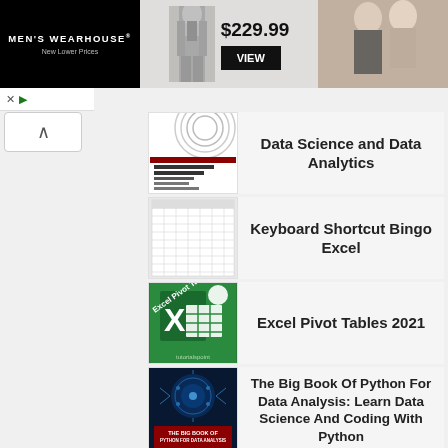[Figure (screenshot): Men's Wearhouse advertisement banner showing a suit for $229.99 with a VIEW button and a couple in formal wear]
[Figure (photo): Book cover for Data Science and Data Analytics]
Data Science and Data Analytics
[Figure (photo): Book cover for Keyboard Shortcut Bingo Excel]
Keyboard Shortcut Bingo Excel
[Figure (photo): Book cover for Excel Pivot Tables 2021]
Excel Pivot Tables 2021
[Figure (photo): Book cover for The Big Book Of Python For Data Analysis: Learn Data Science And Coding With Python]
The Big Book Of Python For Data Analysis: Learn Data Science And Coding With Python